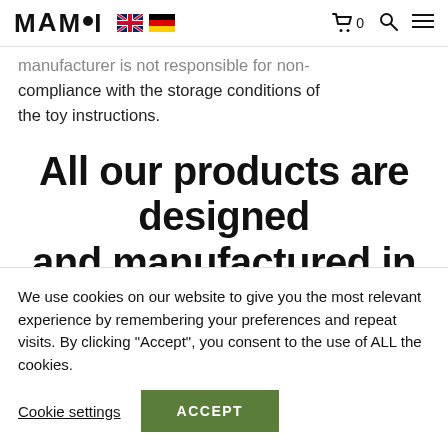MAMOI — navigation with UK and DE flags, cart (0), search, menu icons
manufacturer is not responsible for non-compliance with the storage conditions of the toy instructions.
All our products are designed and manufactured in the European Union
We use cookies on our website to give you the most relevant experience by remembering your preferences and repeat visits. By clicking “Accept”, you consent to the use of ALL the cookies.
Cookie settings   ACCEPT